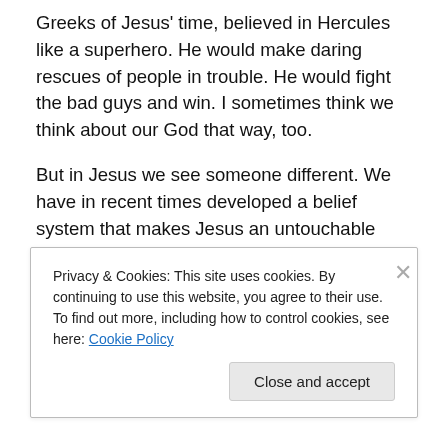Greeks of Jesus' time, believed in Hercules like a superhero. He would make daring rescues of people in trouble. He would fight the bad guys and win. I sometimes think we think about our God that way, too.
But in Jesus we see someone different. We have in recent times developed a belief system that makes Jesus an untouchable God, a superhero that always wins, but we have also dramatized and sanctified what is the most important thing he did, which was to die on the cross. We have made the suffering of execution a commendable
Privacy & Cookies: This site uses cookies. By continuing to use this website, you agree to their use.
To find out more, including how to control cookies, see here: Cookie Policy